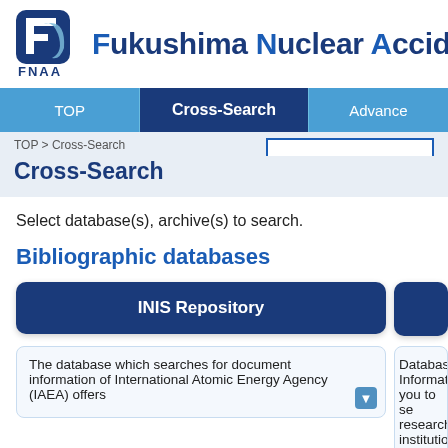[Figure (logo): FNAA logo - dark blue rounded square with stylized F letter and light blue swoosh, with FNAA label below]
Fukushima Nuclear Accide
TOP   Cross-Search   Advance
TOP > Cross-Search
Cross-Search
Select database(s), archive(s) to search.
Bibliographic databases
INIS Repository
The database which searches for document information of International Atomic Energy Agency (IAEA) offers
Databas Information you to se research institution